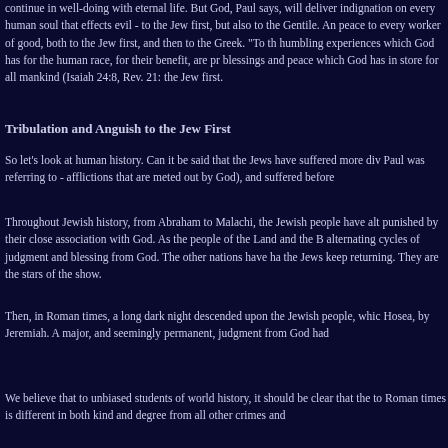continue in well-doing with eternal life. But God, Paul says, will deliver indignation on every human soul that effects evil - to the Jew first, but also to the Gentile. And peace to every worker of good, both to the Jew first, and then to the Greek. "To the humbling experiences which God has for the human race, for their benefit, are promised blessings and peace which God has in store for all mankind (Isaiah 24:8, Rev. 21:...) the Jew first.
Tribulation and Anguish to the Jew First
So let's look at human history. Can it be said that the Jews have suffered more divine Paul was referring to - afflictions that are meted out by God), and suffered before...
Throughout Jewish history, from Abraham to Malachi, the Jewish people have alternately punished by their close association with God. As the people of the Land and the Bible, alternating cycles of judgment and blessing from God. The other nations have had... the Jews keep returning. They are the stars of the show.
Then, in Roman times, a long dark night descended upon the Jewish people, which... Hosea, by Jeremiah. A major, and seemingly permanent, judgment from God had...
We believe that to unbiased students of world history, it should be clear that the to Roman times is different in both kind and degree from all other crimes and...